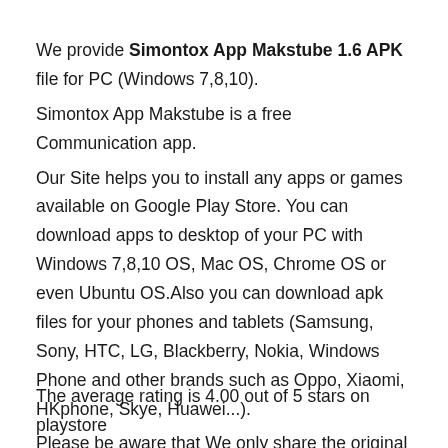We provide Simontox App Makstube 1.6 APK file for PC (Windows 7,8,10).
Simontox App Makstube is a free Communication app.
Our Site helps you to install any apps or games available on Google Play Store. You can download apps to desktop of your PC with Windows 7,8,10 OS, Mac OS, Chrome OS or even Ubuntu OS.Also you can download apk files for your phones and tablets (Samsung, Sony, HTC, LG, Blackberry, Nokia, Windows Phone and other brands such as Oppo, Xiaomi, HKphone, Skye, Huawei...).
Please be aware that We only share the original and free pure apk installer for Simontox App Makstube 1.6 APK without any modifications.
The average rating is 4.00 out of 5 stars on playstore.